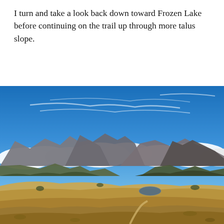I turn and take a look back down toward Frozen Lake before continuing on the trail up through more talus slope.
[Figure (photo): Panoramic mountain landscape viewed from a high elevation. Blue sky with wispy cirrus clouds and some cumulus clouds along the horizon. Rocky mountain peaks in the background with evergreen trees on lower slopes. An alpine meadow and small lake visible in the valley below. Dry golden-brown terrain in the foreground with a trail visible.]